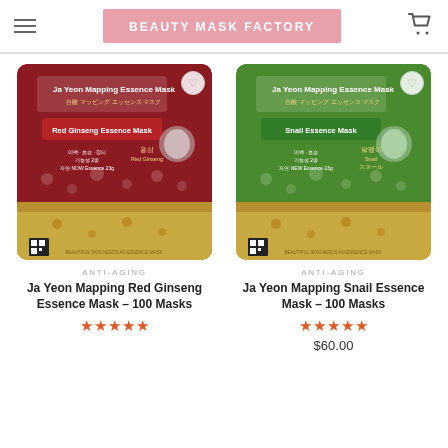BEAUTY MASK FACTORY
[Figure (photo): Ja Yeon Mapping Red Ginseng Essence Mask product packaging - dark red/maroon pouch with gold bottom, Korean text, floral design]
[Figure (photo): Ja Yeon Mapping Snail Essence Mask product packaging - green pouch with gold bottom, Korean text, floral and snail design]
ANTI-AGING
Ja Yeon Mapping Red Ginseng Essence Mask – 100 Masks
★★★★★
ANTI-AGING
Ja Yeon Mapping Snail Essence Mask – 100 Masks
★★★★★
$60.00